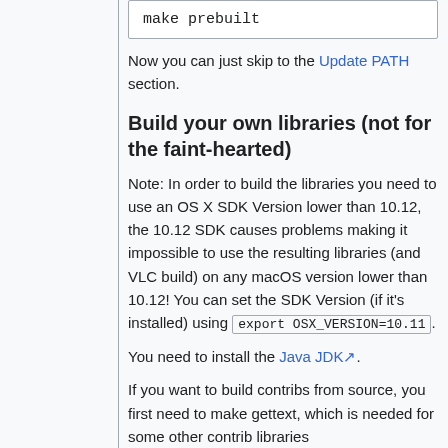make prebuilt
Now you can just skip to the Update PATH section.
Build your own libraries (not for the faint-hearted)
Note: In order to build the libraries you need to use an OS X SDK Version lower than 10.12, the 10.12 SDK causes problems making it impossible to use the resulting libraries (and VLC build) on any macOS version lower than 10.12! You can set the SDK Version (if it's installed) using export OSX_VERSION=10.11.
You need to install the Java JDK.
If you want to build contribs from source, you first need to make gettext, which is needed for some other contrib libraries